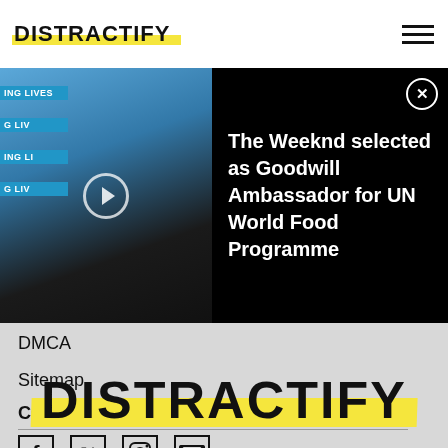DISTRACTIFY
[Figure (photo): Photo of two men at a UN World Food Programme event with a blue backdrop, with a video play button overlay. Next to the photo is a black panel with the headline: The Weeknd selected as Goodwill Ambassador for UN World Food Programme, and a close button.]
DMCA
Sitemap
CONNECT with Distractify
[Figure (infographic): Social media icons: Facebook, Twitter, Instagram, Email]
[Figure (logo): DISTRACTIFY logo with yellow highlight brushstroke background]